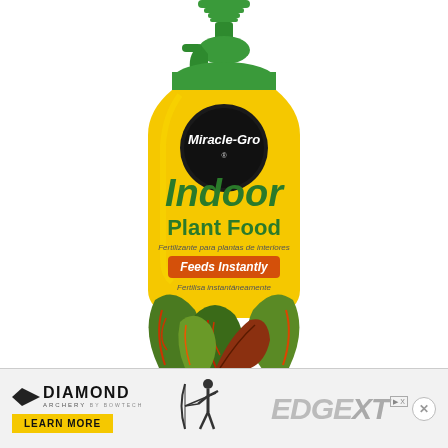[Figure (photo): Miracle-Gro Indoor Plant Food spray bottle. Yellow bottle with green spray trigger top. Black circular Miracle-Gro logo medallion near top. Large green text 'Indoor Plant Food', smaller text 'Fertilizante para plantas de interiores', orange banner with white text 'Feeds Instantly', italic text 'Fertilisa instantáneamente', and colorful tropical houseplant (croton) at the bottom of the bottle.]
[Figure (advertisement): Diamond Archery advertisement banner at bottom. Left side: Diamond arrow logo with 'DIAMOND ARCHERY by BOWTECH' text and yellow 'LEARN MORE' button. Right side: silhouette of archer with compound bow, and 'EDGE XT' text in grey. Small AdChoices icon and close button (X).]